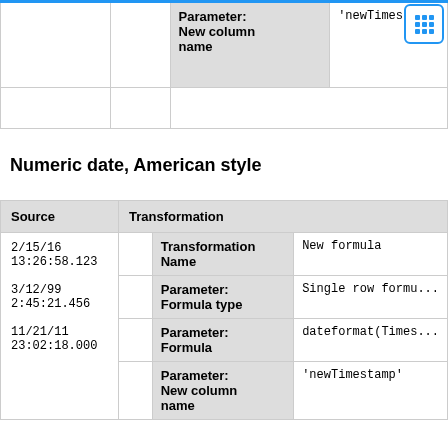|  |  | Parameter: New column name | 'newTimesta... |
| --- | --- | --- | --- |
|  |  |  |  |
Numeric date, American style
| Source | Transformation |
| --- | --- |
| 2/15/16
13:26:58.123 | Transformation Name | New formula |
|  | Parameter: Formula type | Single row formu... |
| 3/12/99
2:45:21.456 | Parameter: Formula type | Single row formu... |
| 11/21/11
23:02:18.000 | Parameter: Formula | dateformat(Times... |
|  | Parameter: New column name | 'newTimestamp' |